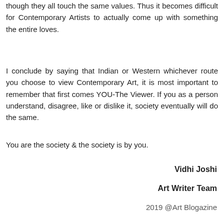though they all touch the same values. Thus it becomes difficult for Contemporary Artists to actually come up with something the entire loves.
I conclude by saying that Indian or Western whichever route you choose to view Contemporary Art, it is most important to remember that first comes YOU-The Viewer. If you as a person understand, disagree, like or dislike it, society eventually will do the same.
You are the society & the society is by you.
Vidhi Joshi
Art Writer Team
2019 @Art Blogazine